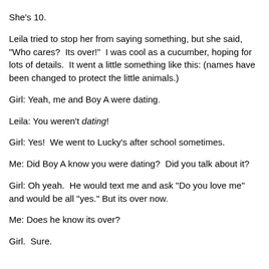She's 10.
Leila tried to stop her from saying something, but she said, "Who cares?  Its over!"  I was cool as a cucumber, hoping for lots of details.  It went a little something like this: (names have been changed to protect the little animals.)
Girl: Yeah, me and Boy A were dating.
Leila: You weren't dating!
Girl: Yes!  We went to Lucky's after school sometimes.
Me: Did Boy A know you were dating?  Did you talk about it?
Girl: Oh yeah.  He would text me and ask "Do you love me" and would be all "yes." But its over now.
Me: Does he know its over?
Girl.  Sure.